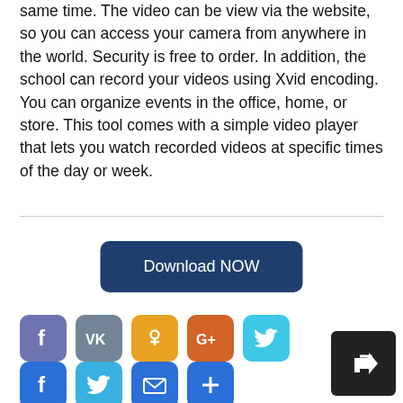same time. The video can be view via the website, so you can access your camera from anywhere in the world. Security is free to order. In addition, the school can record your videos using Xvid encoding. You can organize events in the office, home, or store. This tool comes with a simple video player that lets you watch recorded videos at specific times of the day or week.
[Figure (other): Download NOW button - dark navy blue rounded rectangle button with white text]
[Figure (other): Social media share icons row 1: Facebook (purple), VK (gray), Odnoklassniki (yellow), Google Plus (orange), Twitter (cyan)]
[Figure (other): Social media share icons row 2: Facebook (blue), Twitter (blue), Mail (blue), Plus/More (blue)]
[Figure (other): Navigation arrow button - black rounded rectangle with white arrow pointing up-right]